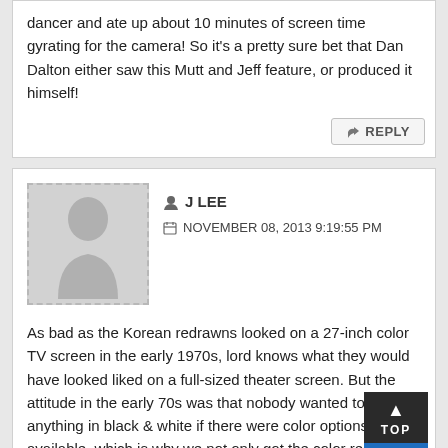dancer and ate up about 10 minutes of screen time gyrating for the camera! So it's a pretty sure bet that Dan Dalton either saw this Mutt and Jeff feature, or produced it himself!
REPLY
J LEE
NOVEMBER 08, 2013 9:19:55 PM
As bad as the Korean redrawns looked on a 27-inch color TV screen in the early 1970s, lord knows what they would have looked liked on a full-sized theater screen. But the attitude in the early 70s was that nobody wanted to see anything in black & white if there were color options available, which is why we not only got the color redrawns, but why some TV shows that transitioned from B&W to color in the 1960s saw their non-color episodes removed from 70s syndication packages, even if those were the best episodes of the series.
Turner did execute slightly more quality control on the